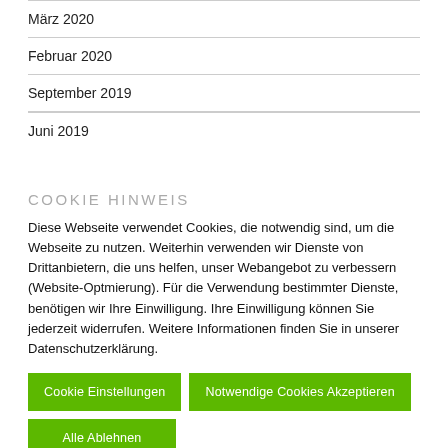März 2020
Februar 2020
September 2019
Juni 2019
COOKIE HINWEIS
Diese Webseite verwendet Cookies, die notwendig sind, um die Webseite zu nutzen. Weiterhin verwenden wir Dienste von Drittanbietern, die uns helfen, unser Webangebot zu verbessern (Website-Optmierung). Für die Verwendung bestimmter Dienste, benötigen wir Ihre Einwilligung. Ihre Einwilligung können Sie jederzeit widerrufen. Weitere Informationen finden Sie in unserer Datenschutzerklärung.
Cookie Einstellungen
Notwendige Cookies Akzeptieren
Alle Ablehnen